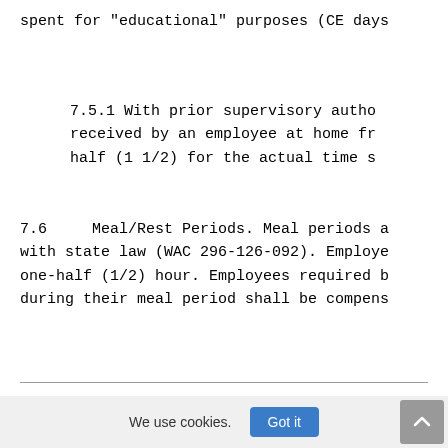spent for "educational" purposes (CE days
7.5.1 With prior supervisory autho received by an employee at home fr half (1 1/2) for the actual time s
7.6     Meal/Rest Periods. Meal periods a with state law (WAC 296-126-092). Employe one-half (1/2) hour. Employees required b during their meal period shall be compens
employees shall be allowed a rest period four (4) hours of working time.